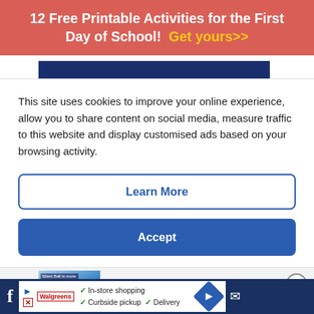12 Free Printable Activities for the First Day of School! Get yours>>
[Figure (screenshot): Dark navy blue navigation bar block]
This site uses cookies to improve your online experience, allow you to share content on social media, measure traffic to this website and display customised ads based on your browsing activity.
Learn More
Accept
[Figure (screenshot): Article thumbnail showing blue balls in a basket with text overlay, partial article title 'Is Silent Ball the Best Classroom Management']
In-store shopping  Curbside pickup  Delivery